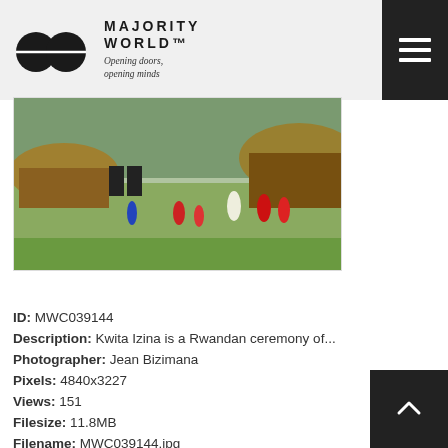MAJORITY WORLD™ — Opening doors, opening minds
[Figure (photo): Outdoor cultural performance or ceremony with performers in colorful costumes on a grassy field, with traditional thatched structures and trees in the background.]
ID: MWC039144
Description: Kwita Izina is a Rwandan ceremony of...
Photographer: Jean Bizimana
Pixels: 4840x3227
Views: 151
Filesize: 11.8MB
Filename: MWC039144.jpg
Owner: Jean Bizimana
Added: Jun 15, 2021